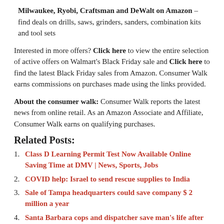Milwaukee, Ryobi, Craftsman and DeWalt on Amazon – find deals on drills, saws, grinders, sanders, combination kits and tool sets
Interested in more offers? Click here to view the entire selection of active offers on Walmart's Black Friday sale and Click here to find the latest Black Friday sales from Amazon. Consumer Walk earns commissions on purchases made using the links provided.
About the consumer walk: Consumer Walk reports the latest news from online retail. As an Amazon Associate and Affiliate, Consumer Walk earns on qualifying purchases.
Related Posts:
Class D Learning Permit Test Now Available Online Saving Time at DMV | News, Sports, Jobs
COVID help: Israel to send rescue supplies to India
Sale of Tampa headquarters could save company $ 2 million a year
Santa Barbara cops and dispatcher save man's life after drug